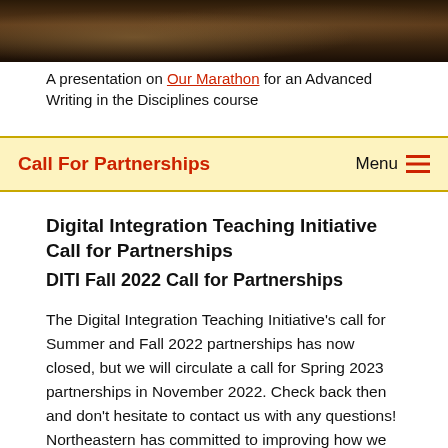[Figure (photo): Dark sepia-toned photograph strip at the top of the page, showing a person or scene with warm brown tones.]
A presentation on Our Marathon for an Advanced Writing in the Disciplines course
Call For Partnerships   Menu
Digital Integration Teaching Initiative Call for Partnerships
DITI Fall 2022 Call for Partnerships
The Digital Integration Teaching Initiative's call for Summer and Fall 2022 partnerships has now closed, but we will circulate a call for Spring 2023 partnerships in November 2022. Check back then and don't hesitate to contact us with any questions! Northeastern has committed to improving how we teach our undergraduates digital tools, skills, and